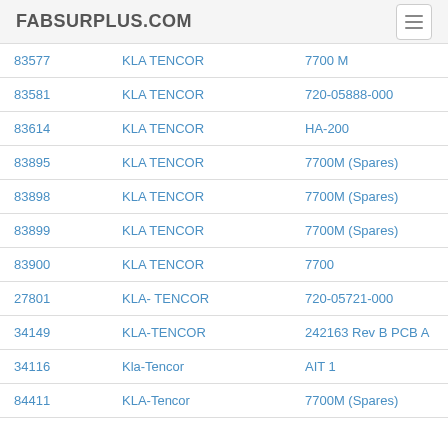FABSURPLUS.COM
| ID | Manufacturer | Model |
| --- | --- | --- |
| 83577 | KLA TENCOR | 7700 M |
| 83581 | KLA TENCOR | 720-05888-000 |
| 83614 | KLA TENCOR | HA-200 |
| 83895 | KLA TENCOR | 7700M (Spares) |
| 83898 | KLA TENCOR | 7700M (Spares) |
| 83899 | KLA TENCOR | 7700M (Spares) |
| 83900 | KLA TENCOR | 7700 |
| 27801 | KLA- TENCOR | 720-05721-000 |
| 34149 | KLA-TENCOR | 242163 Rev B PCB A |
| 34116 | Kla-Tencor | AIT 1 |
| 84411 | KLA-Tencor | 7700M (Spares) |